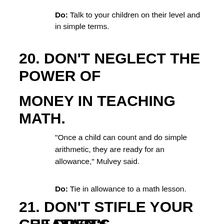Do: Talk to your children on their level and in simple terms.
20. DON'T NEGLECT THE POWER OF MONEY IN TEACHING MATH.
“Once a child can count and do simple arithmetic, they are ready for an allowance,” Mulvey said.
Do: Tie in allowance to a math lesson.
21. DON’T STIFLE YOUR CHILDREN’S CREATIVITY